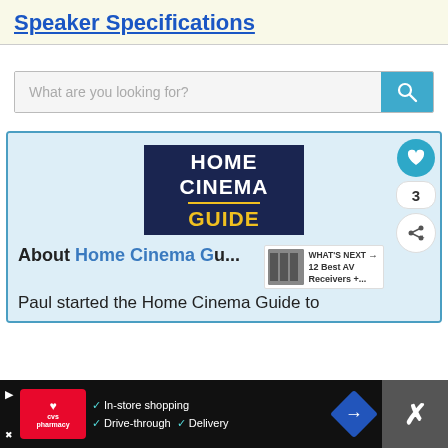Speaker Specifications
What are you looking for?
[Figure (logo): Home Cinema Guide logo — dark navy blue square with HOME CINEMA GUIDE in white and yellow bold text]
About Home Cinema G...
WHAT'S NEXT → 12 Best AV Receivers +...
Paul started the Home Cinema Guide to
In-store shopping  Drive-through  Delivery — CVS Pharmacy advertisement